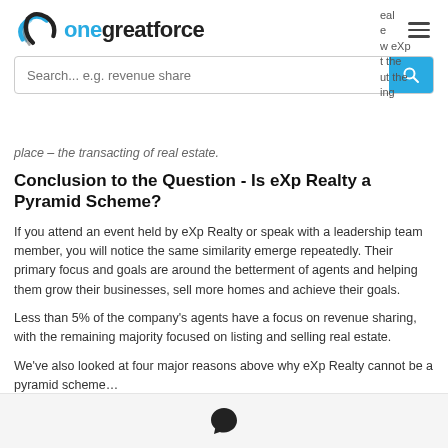onegreatforce — Search... e.g. revenue share
place – the transacting of real estate.
Conclusion to the Question - Is eXp Realty a Pyramid Scheme?
If you attend an event held by eXp Realty or speak with a leadership team member, you will notice the same similarity emerge repeatedly. Their primary focus and goals are around the betterment of agents and helping them grow their businesses, sell more homes and achieve their goals.
Less than 5% of the company's agents have a focus on revenue sharing, with the remaining majority focused on listing and selling real estate.
We've also looked at four major reasons above why eXp Realty cannot be a pyramid scheme…